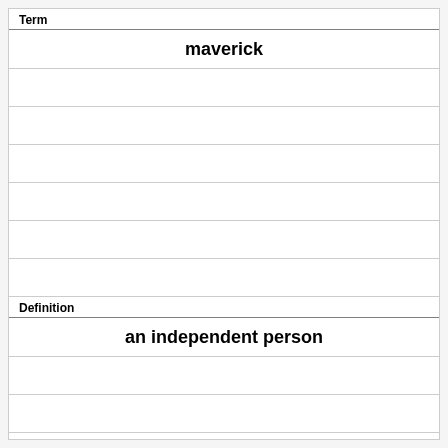Term
maverick
Definition
an independent person